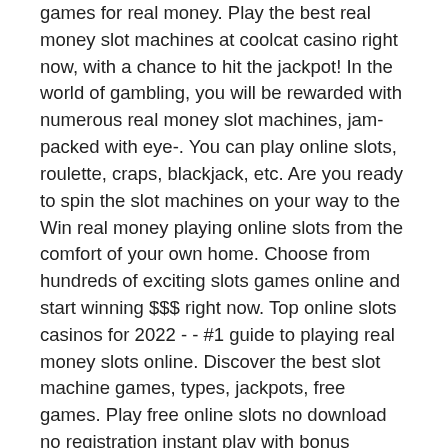games for real money. Play the best real money slot machines at coolcat casino right now, with a chance to hit the jackpot! In the world of gambling, you will be rewarded with numerous real money slot machines, jam-packed with eye-. You can play online slots, roulette, craps, blackjack, etc. Are you ready to spin the slot machines on your way to the Win real money playing online slots from the comfort of your own home. Choose from hundreds of exciting slots games online and start winning $$$ right now. Top online slots casinos for 2022 - - #1 guide to playing real money slots online. Discover the best slot machine games, types, jackpots, free games. Play free online slots no download no registration instant play with bonus rounds no depositing cash. The best free slot machine games without downloading. During a normal game, a profitable slot machine is an illusion. The player does not have a positive mathematical expectation in any of